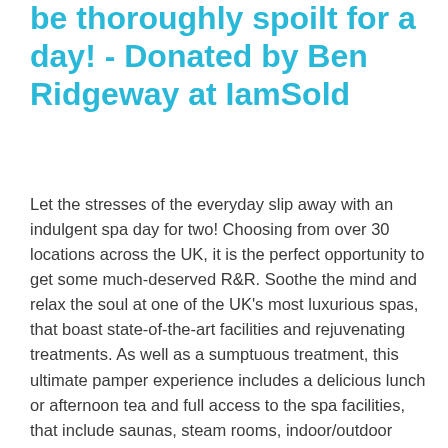be thoroughly spoilt for a day! - Donated by Ben Ridgeway at IamSold
Let the stresses of the everyday slip away with an indulgent spa day for two! Choosing from over 30 locations across the UK, it is the perfect opportunity to get some much-deserved R&R. Soothe the mind and relax the soul at one of the UK's most luxurious spas, that boast state-of-the-art facilities and rejuvenating treatments. As well as a sumptuous treatment, this ultimate pamper experience includes a delicious lunch or afternoon tea and full access to the spa facilities, that include saunas, steam rooms, indoor/outdoor swimming pools and more. From Marriott to The Lifehouse Spa, it is guaranteed to be a pamper day unlike any other.